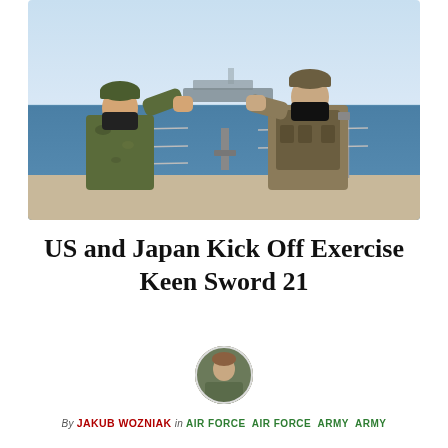[Figure (photo): Two soldiers in camouflage uniforms and black masks performing a fist bump outdoors on a ship deck with ocean and a large vessel in the background.]
US and Japan Kick Off Exercise Keen Sword 21
[Figure (photo): Circular avatar/headshot of author Jakub Wozniak in military uniform]
By JAKUB WOZNIAK  in AIR FORCE  AIR FORCE  ARMY  ARMY